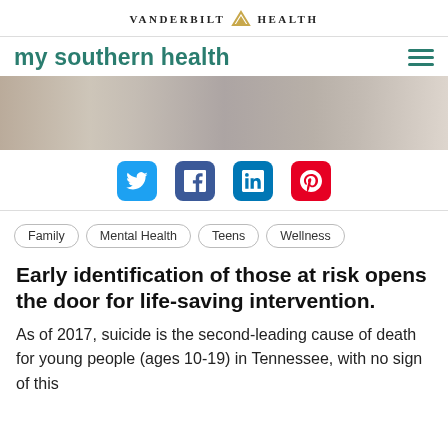VANDERBILT HEALTH
my southern health
[Figure (photo): A desk scene showing a laptop, notebooks, and office supplies from above.]
[Figure (infographic): Social media share icons: Twitter (blue bird), Facebook (f), LinkedIn (in), Pinterest (P in red).]
Family
Mental Health
Teens
Wellness
Early identification of those at risk opens the door for life-saving intervention.
As of 2017, suicide is the second-leading cause of death for young people (ages 10-19) in Tennessee, with no sign of this...